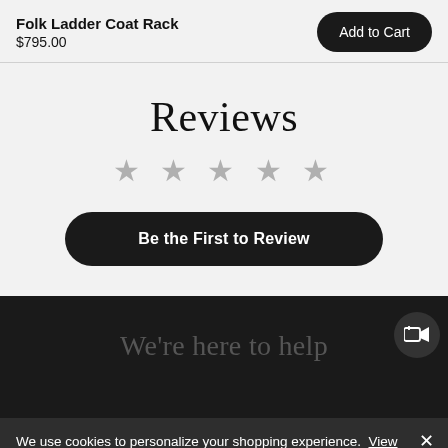Folk Ladder Coat Rack
$795.00
Add to Cart
Reviews
[Figure (other): Five empty grey star rating icons]
Be the First to Review
We're here to help
[Figure (other): Video camera add icon button]
We use cookies to personalize your shopping experience. View our Cookies Notice to learn more about how we use cookies and how you can manage them.